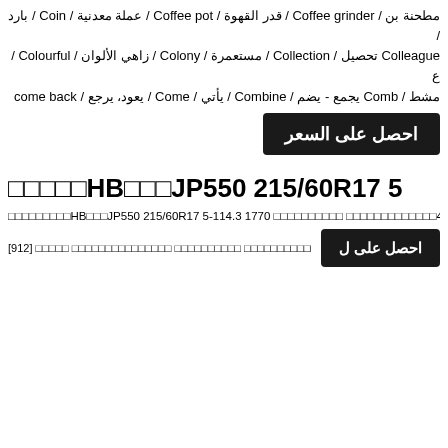مطحنة بن / Coffee grinder / قدر القهوة / Coffee pot / عملة معدنية / Coin / بارد / Colleague تحصيل / Collection / مستعمرة / Colony / زاهي الألوان / Colourful / ع Comb / مشط يجمع - يضم / Combine / يأتي / Come / يعود، يرجع / come back
احصل على السعر
□□□□□HB□□□JP550 215/60R17 5
□□□□□□□□□HB□□□JP550 215/60R17 5-114.3 1770 □□□□□□□□□□ □□□□□□□□□□□□□4□□□
احصل على ل □□□□□ □□□□□□□□□□□□□□□ □□□□□□□□□□ □□□□□□□□□□□□□6H24□□ □ [912]